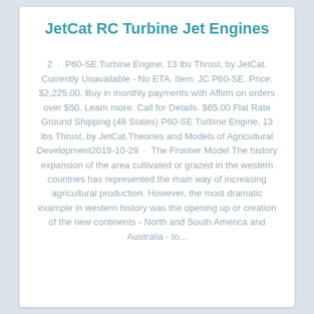JetCat RC Turbine Jet Engines
2 · P60-SE Turbine Engine, 13 lbs Thrust, by JetCat. Currently Unavailable - No ETA. Item: JC P60-SE. Price: $2,225.00. Buy in monthly payments with Affirm on orders over $50. Learn more. Call for Details. $65.00 Flat Rate Ground Shipping (48 States) P60-SE Turbine Engine, 13 lbs Thrust, by JetCat.Theories and Models of Agricultural Development2019-10-29 · The Frontier Model The history expansion of the area cultivated or grazed in the western countries has represented the main way of increasing agricultural production. However, the most dramatic example in western history was the opening up or creation of the new continents - North and South America and Australia - to...